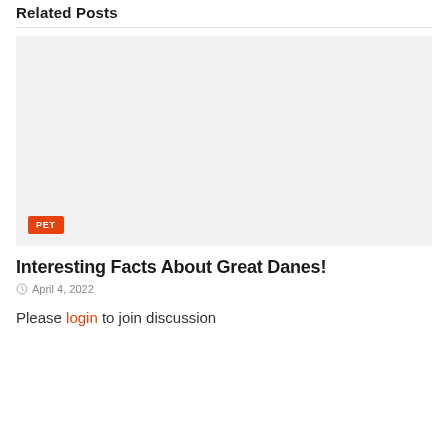Related Posts
[Figure (photo): Placeholder image area with a PET category badge in the lower left corner]
Interesting Facts About Great Danes!
April 4, 2022
Please login to join discussion